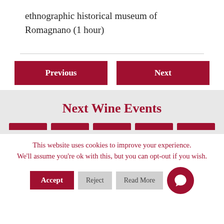ethnographic historical museum of Romagnano (1 hour)
Previous
Next
Next Wine Events
This website uses cookies to improve your experience. We'll assume you're ok with this, but you can opt-out if you wish.
Accept
Reject
Read More